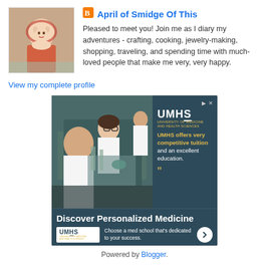April of Smidge Of This
Pleased to meet you! Join me as I diary my adventures - crafting, cooking, jewelry-making, shopping, traveling, and spending time with much-loved people that make me very, very happy.
View my complete profile
[Figure (photo): Advertisement for UMHS (University of Medicine and Health Sciences) showing two lab researchers in white coats working with equipment and a woman in background. Text: UMHS offers very competitive tuition and an excellent education. Discover Personalized Medicine. Choose a med school that's dedicated to your success.]
Powered by Blogger.